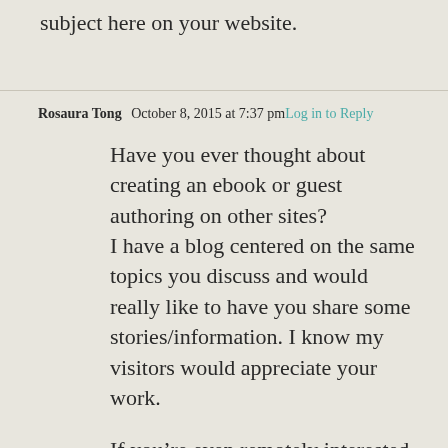subject here on your website.
Rosaura Tong   October 8, 2015 at 7:37 pm  Log in to Reply
Have you ever thought about creating an ebook or guest authoring on other sites?
I have a blog centered on the same topics you discuss and would really like to have you share some stories/information. I know my visitors would appreciate your work.

If you’re even remotely interested, feel free to send me an email.